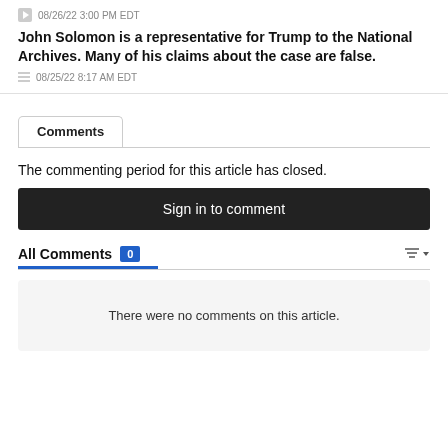08/26/22 3:00 PM EDT
John Solomon is a representative for Trump to the National Archives. Many of his claims about the case are false.
08/25/22 8:17 AM EDT
Comments
The commenting period for this article has closed.
Sign in to comment
All Comments 0
There were no comments on this article.